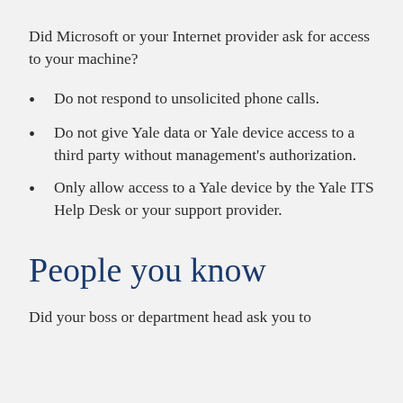Did Microsoft or your Internet provider ask for access to your machine?
Do not respond to unsolicited phone calls.
Do not give Yale data or Yale device access to a third party without management's authorization.
Only allow access to a Yale device by the Yale ITS Help Desk or your support provider.
People you know
Did your boss or department head ask you to